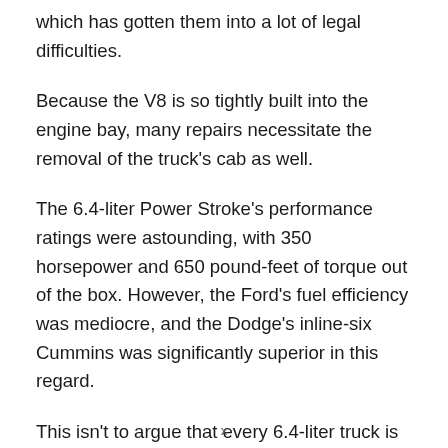which has gotten them into a lot of legal difficulties.
Because the V8 is so tightly built into the engine bay, many repairs necessitate the removal of the truck's cab as well.
The 6.4-liter Power Stroke's performance ratings were astounding, with 350 horsepower and 650 pound-feet of torque out of the box. However, the Ford's fuel efficiency was mediocre, and the Dodge's inline-six Cummins was significantly superior in this regard.
This isn't to argue that every 6.4-liter truck is a
x